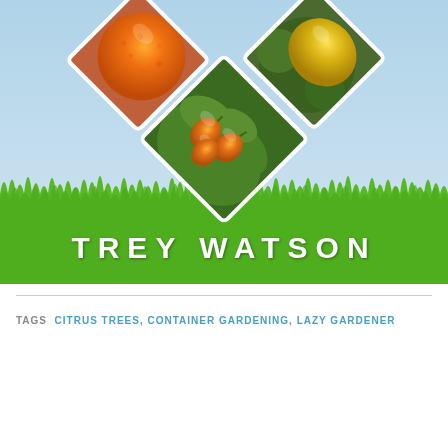[Figure (photo): Book cover image showing three diamond-shaped photos of citrus fruits (orange, kumquats, lemon) arranged on a light blue sky background above green grass, with author name TREY WATSON displayed in large white letters over the grass]
TAGS  CITRUS TREES, CONTAINER GARDENING, LAZY GARDENER